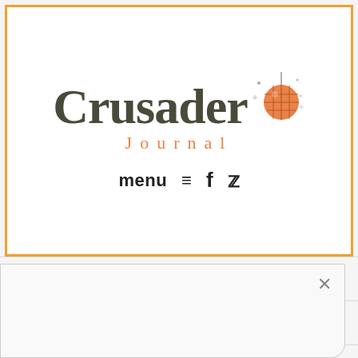Crusader Journal
menu ≡  f  🐦
October 2019
September 2019
August 2019
July 2019